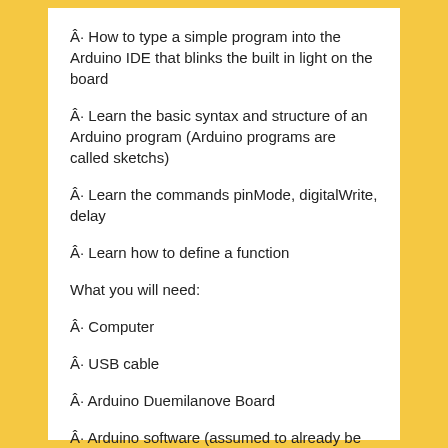Â· How to type a simple program into the Arduino IDE that blinks the built in light on the board
Â· Learn the basic syntax and structure of an Arduino program (Arduino programs are called sketchs)
Â· Learn the commands pinMode, digitalWrite, delay
Â· Learn how to define a function
What you will need:
Â· Computer
Â· USB cable
Â· Arduino Duemilanove Board
Â· Arduino software (assumed to already be installed on the computer)